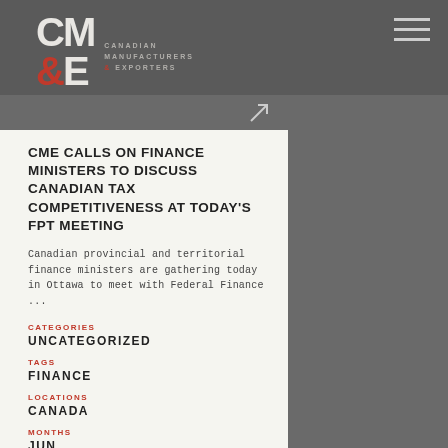[Figure (logo): CM&E Canadian Manufacturers & Exporters logo in white and red on dark grey background]
CME CALLS ON FINANCE MINISTERS TO DISCUSS CANADIAN TAX COMPETITIVENESS AT TODAY'S FPT MEETING
Canadian provincial and territorial finance ministers are gathering today in Ottawa to meet with Federal Finance ...
CATEGORIES
UNCATEGORIZED
TAGS
FINANCE
LOCATIONS
CANADA
MONTHS
JUN
YEARS
2018
TOPICS
ECONOMIC STRATEGY